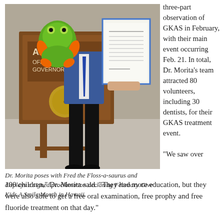[Figure (photo): Dr. Morita standing in front of an 'Aloha Office of the Governor' sign, holding a signed proclamation and a green stuffed frog toy (Fred the Floss-a-saurus). He is wearing a blue suit with a tie.]
three-part observation of GKAS in February, with their main event occurring Feb. 21. In total, Dr. Morita's team attracted 80 volunteers, including 30 dentists, for their GKAS treatment event.

“We saw over 100 children,” Dr. Morita said. “They had more education, but they were also able to get a free oral examination, free prophy and free fluoride treatment on that day.”
Dr. Morita poses with Fred the Floss-a-saurus and displays a signed proclamation declaring February Give Kids A Smile Month in Hawaii.